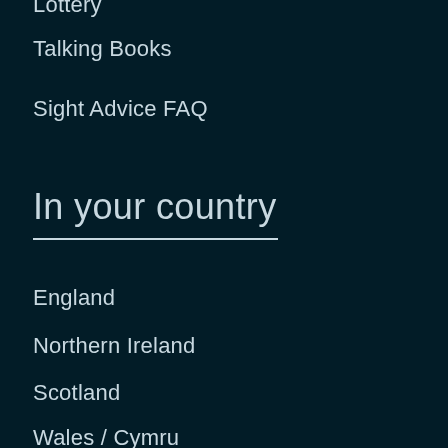Lottery
Talking Books
Sight Advice FAQ
In your country
England
Northern Ireland
Scotland
Wales / Cymru